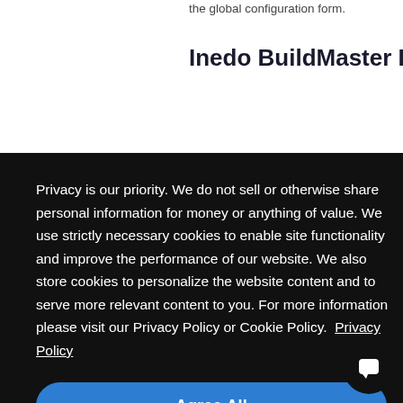the global configuration form.
Inedo BuildMaster Plugin Plu
Privacy is our priority. We do not sell or otherwise share personal information for money or anything of value. We use strictly necessary cookies to enable site functionality and improve the performance of our website. We also store cookies to personalize the website content and to serve more relevant content to you. For more information please visit our Privacy Policy or Cookie Policy.  Privacy Policy
Agree All
es a serv
ted on di
in expos
d simila
encrypt
n.
configuration form